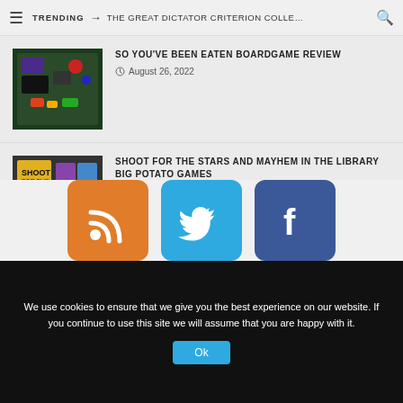TRENDING → THE GREAT DICTATOR CRITERION COLLE…
SO YOU'VE BEEN EATEN BOARDGAME REVIEW
August 26, 2022
SHOOT FOR THE STARS AND MAYHEM IN THE LIBRARY BIG POTATO GAMES
August 25, 2022
[Figure (infographic): Three social media icon buttons: RSS (orange), Twitter (blue bird), Facebook (dark blue f)]
We use cookies to ensure that we give you the best experience on our website. If you continue to use this site we will assume that you are happy with it.